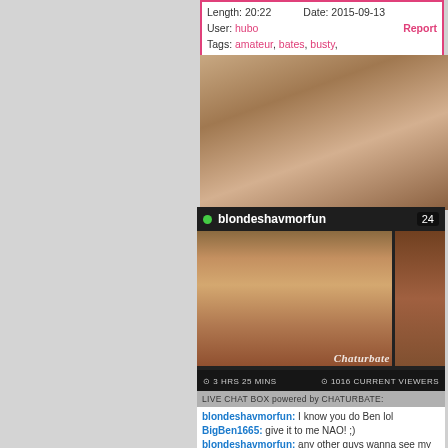Length: 20:22    Date: 2015-09-13
User: hubo    Report
Tags: amateur, bates, busty,
[Figure (screenshot): Video thumbnail showing a close-up body image]
[Figure (screenshot): Chaturbate live stream thumbnail for blondeshavmorfun with 24 viewers, 3 HRS 25 MINS, 1016 CURRENT VIEWERS]
LIVE CHAT BOX powered by CHATURBATE:
blondeshavmorfun: I know you do Ben lol
BigBen1665: give it to me NAO! ;)
blondeshavmorfun: any other guys wanna see my fresh brazilian wax??? :O